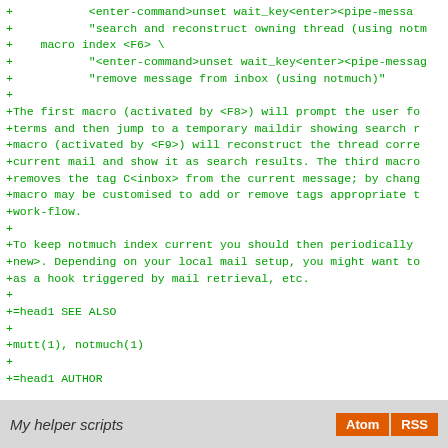+           <enter-command>unset wait_key<enter><pipe-messa
+           "search and reconstruct owning thread (using notm
+    macro index <F6> \
+           "<enter-command>unset wait_key<enter><pipe-messag
+           "remove message from inbox (using notmuch)"
+
+The first macro (activated by <F8>) will prompt the user fo
+terms and then jump to a temporary maildir showing search r
+macro (activated by <F9>) will reconstruct the thread corre
+current mail and show it as search results. The third macro
+removes the tag C<inbox> from the current message; by chang
+macro may be customised to add or remove tags appropriate t
+work-flow.
+
+To keep notmuch index current you should then periodically
+new>. Depending on your local mail setup, you might want to
+as a hook triggered by mail retrieval, etc.
+
+=head1 SEE ALSO
+
+mutt(1), notmuch(1)
+
+=head1 AUTHOR
+
+Copyright: (C) 2011 Stefano Zacchiroli <zack@upsilon.cc>
+
+License: GNU General Public License (GPL), version 3 or hig
+
+=cut
My helper scripts